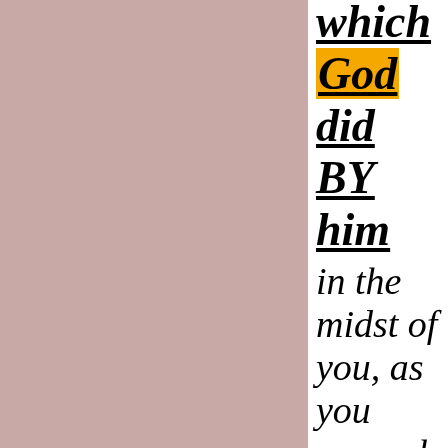[Figure (other): Large mauve/dusty rose colored rectangle occupying the left portion of the page]
which God did BY him in the midst of you, as you yourselves also know: Th is the